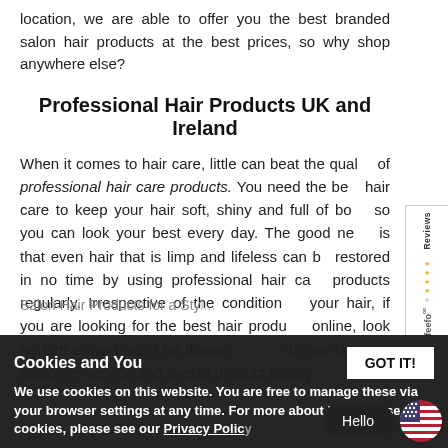location, we are able to offer you the best branded salon hair products at the best prices, so why shop anywhere else?
Professional Hair Products UK and Ireland
When it comes to hair care, little can beat the quality of professional hair care products. You need the best hair care to keep your hair soft, shiny and full of body so you can look your best every day. The good news is that even hair that is limp and lifeless can be restored in no time by using professional hair care products regularly. Irrespective of the condition of your hair, if you are looking for the best hair products online, look no further, you won't be disappointed with our fantastic customer service and overall product quality.
Salon Hair Products for a Sty...
Cookies and You
We use cookies on this website. You are free to manage these via your browser settings at any time. For more about how we use cookies, please see our Privacy Polic...